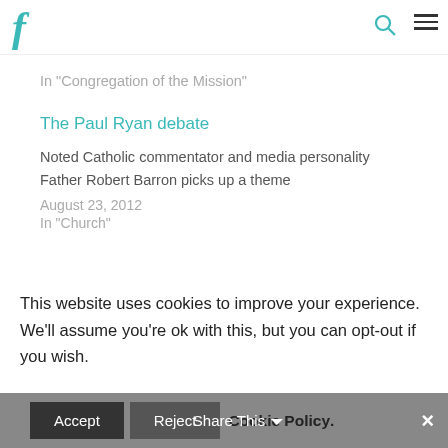F [logo] [search icon] [menu icon]
In "Congregation of the Mission"
The Paul Ryan debate
Noted Catholic commentator and media personality Father Robert Barron picks up a theme
August 23, 2012
In "Church"
This website uses cookies to improve your experience. We'll assume you're ok with this, but you can opt-out if you wish.
Accept  Reject  Cookie Policy.  Share This  ×